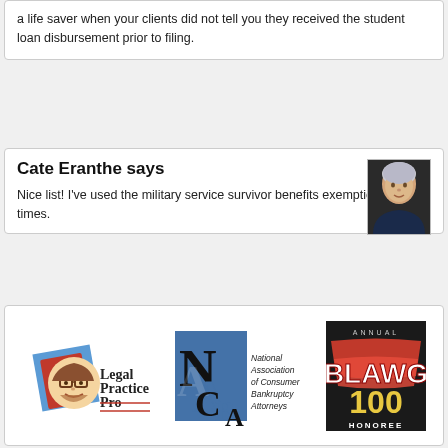a life saver when your clients did not tell you they received the student loan disbursement prior to filing.
Cate Eranthe says
Nice list! I've used the military service survivor benefits exemptions several times.
[Figure (logo): Legal Practice Pro logo with cartoon character]
[Figure (logo): NACBA - National Association of Consumer Bankruptcy Attorneys logo]
[Figure (logo): Annual Blawg 100 Honoree badge]